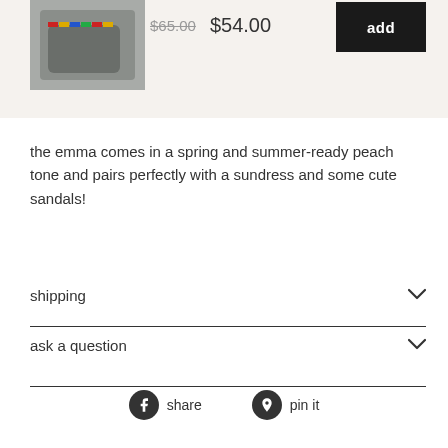[Figure (photo): Product photo of a small dark gray/charcoal bag with colorful beaded strap detail]
$65.00  $54.00
add
the emma comes in a spring and summer-ready peach tone and pairs perfectly with a sundress and some cute sandals!
shipping
ask a question
share
pin it